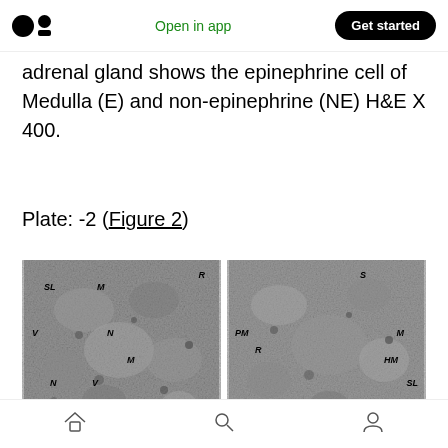Open in app  |  Get started
adrenal gland shows the epinephrine cell of Medulla (E) and non-epinephrine (NE) H&E X 400.
Plate: -2 (Figure 2)
[Figure (photo): Two side-by-side electron microscopy images (1b and 2b) of adrenal gland medullary cells showing labeled structures: SL, M, R, V, N, PM, HM in grayscale. Scale bars visible at bottom.]
Home  Search  Profile (bottom navigation icons)